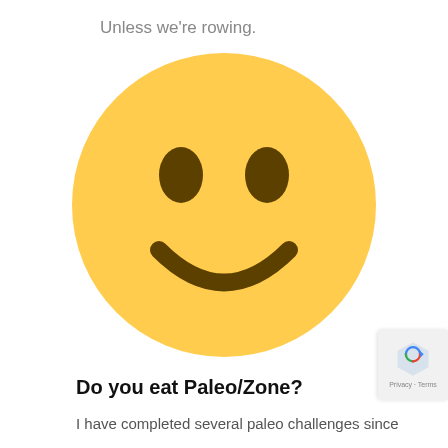Unless we're rowing.
[Figure (illustration): Large yellow smiley face emoji with brown oval eyes and a curved smile on a white background]
Do you eat Paleo/Zone?
I have completed several paleo challenges since